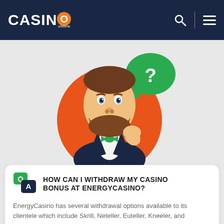CASINO online
[Figure (illustration): Cartoon illustration of a bearded man in a dark suit with green bow tie, standing against an orange circle background, with a green speech bubble containing a question mark above his head. He has his hand on his chin in a thinking pose.]
HOW CAN I WITHDRAW MY CASINO BONUS AT ENERGYCASINO?
EnergyCasino has several withdrawal options available to its clientele which include Skrill, Neteller, Euteller, Kneeler, and